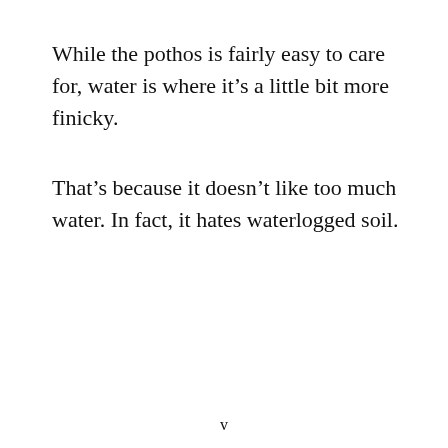While the pothos is fairly easy to care for, water is where it's a little bit more finicky.
That's because it doesn't like too much water. In fact, it hates waterlogged soil.
v